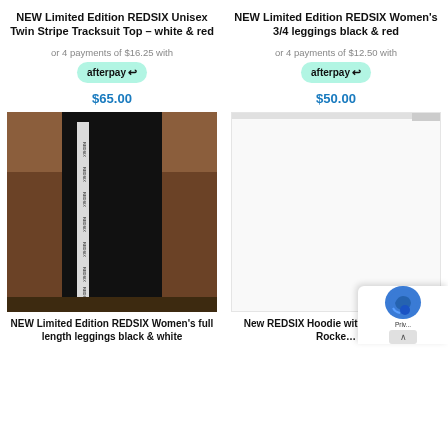NEW Limited Edition REDSIX Unisex Twin Stripe Tracksuit Top – white & red
or 4 payments of $16.25 with afterpay
$65.00
NEW Limited Edition REDSIX Women's 3/4 leggings black & red
or 4 payments of $12.50 with afterpay
$50.00
[Figure (photo): Person wearing black full length leggings with REDSIX branding along the side stripe, photographed outdoors against a brown/red earthy background]
NEW Limited Edition REDSIX Women's full length leggings black & white
[Figure (photo): Partially visible product image, mostly white/blank with a thin visible element at the top]
New REDSIX Hoodie with Embroidered Rocke...